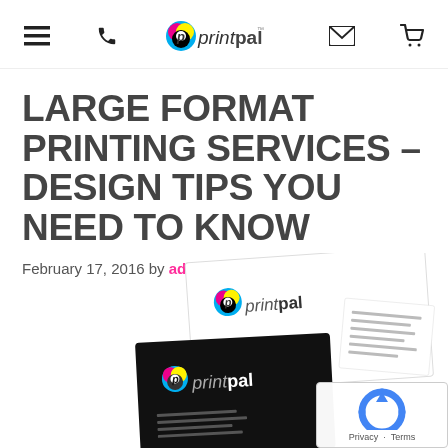PrintPal navigation header with menu, phone, logo, email, and cart icons
LARGE FORMAT PRINTING SERVICES – DESIGN TIPS YOU NEED TO KNOW
February 17, 2016 by admin
[Figure (photo): PrintPal branded stationery including an envelope with printpal logo, a business card with printpal logo on black background, and a letterhead/address card, arranged at slight angles]